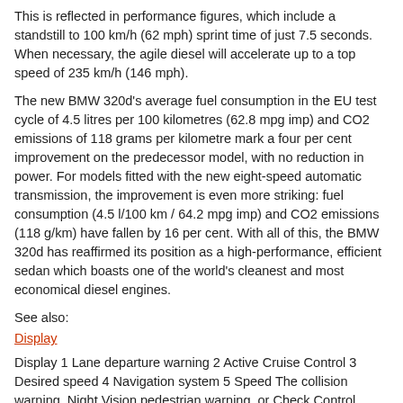This is reflected in performance figures, which include a standstill to 100 km/h (62 mph) sprint time of just 7.5 seconds. When necessary, the agile diesel will accelerate up to a top speed of 235 km/h (146 mph).
The new BMW 320d's average fuel consumption in the EU test cycle of 4.5 litres per 100 kilometres (62.8 mpg imp) and CO2 emissions of 118 grams per kilometre mark a four per cent improvement on the predecessor model, with no reduction in power. For models fitted with the new eight-speed automatic transmission, the improvement is even more striking: fuel consumption (4.5 l/100 km / 64.2 mpg imp) and CO2 emissions (118 g/km) have fallen by 16 per cent. With all of this, the BMW 320d has reaffirmed its position as a high-performance, efficient sedan which boasts one of the world's cleanest and most economical diesel engines.
See also:
Display
Display 1 Lane departure warning 2 Active Cruise Control 3 Desired speed 4 Navigation system 5 Speed The collision warning, Night Vision pedestrian warning, or Check Control messages are dis ...
Safety